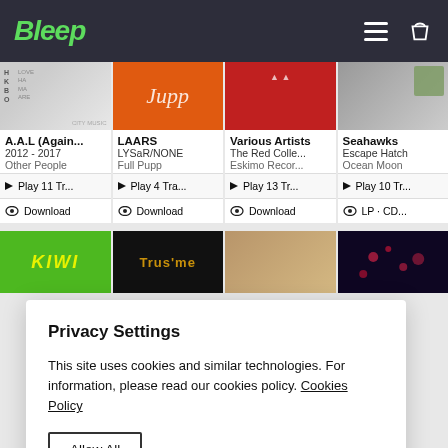Bleep
[Figure (screenshot): Album art grid showing 4 album covers (partial): A.A.L, LAARS, Various Artists, Seahawks]
A.A.L (Again... 2012 - 2017 Other People
LAARS LYSaR/NONE Full Pupp
Various Artists The Red Colle... Eskimo Recor...
Seahawks Escape Hatch Ocean Moon
Play 11 Tr...
Play 4 Tra...
Play 13 Tr...
Play 10 Tr...
Download
Download
Download
LP · CD...
[Figure (screenshot): Partial second row of album covers: Kiwi (green), Trus'me (black with text), tan/landscape, dark blue]
Privacy Settings
This site uses cookies and similar technologies. For information, please read our cookies policy. Cookies Policy
Allow All
Manage Consent Preferences